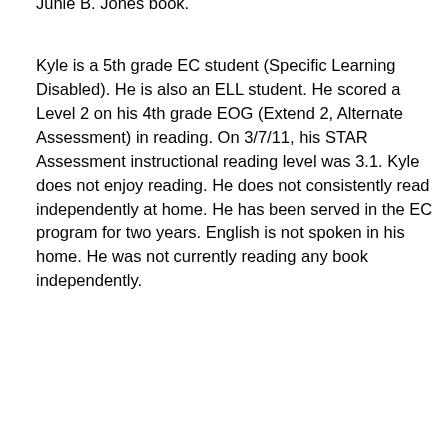Junie B. Jones book.
Kyle is a 5th grade EC student (Specific Learning Disabled). He is also an ELL student. He scored a Level 2 on his 4th grade EOG (Extend 2, Alternate Assessment) in reading. On 3/7/11, his STAR Assessment instructional reading level was 3.1. Kyle does not enjoy reading. He does not consistently read independently at home. He has been served in the EC program for two years. English is not spoken in his home. He was not currently reading any book independently.
John is a 5th grade EC student (Specific Learning Disabled). He scored a Level 3 on his 4th grade EOG (Extend 2, Alternate Assessment) in reading. On 3/7/11, his STAR Assessment instructional reading level was 3.4. John has focusing issues. He wants to read what other students are reading and is frustrated with reading lower level books. He does consistently read independently at home. He has been served in the EC program for three years. He had been reading Diary of a Wimpy Kid.
Zeb is a 5th grade EC student (Other Health Impaired). He scored a Level 3 on his 4th grade EOG (Extend 2, Alternate Assessment) i